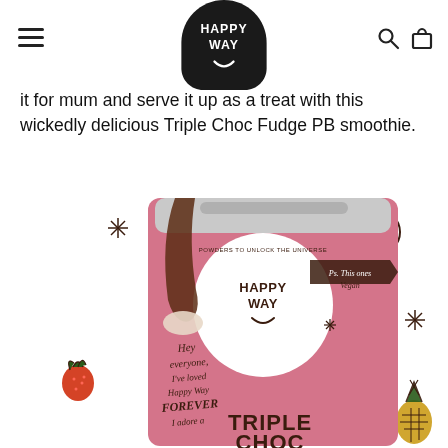Happy Way — navigation header with logo, hamburger menu, search and cart icons
it for mum and serve it up as a treat with this wickedly delicious Triple Choc Fudge PB smoothie.
[Figure (photo): Happy Way Triple Choc product bag (pink packaging) with decorative illustrated sparkles, smiley face, strawberry, and pineapple doodles around it. The bag shows 'HAPPY WAY' logo and 'TRIPLE CHOC' text at the bottom.]